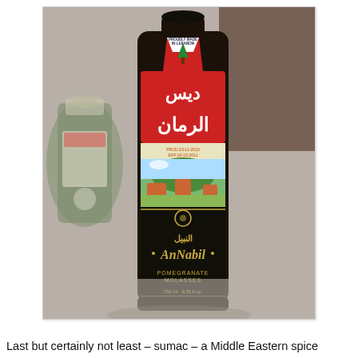[Figure (photo): A dark glass bottle of An Nabil Pomegranate Molasses with Arabic text on a red label, a Lebanese cedar tree emblem sticker on top reading 'Proudly Made in Lebanon', and a scenic landscape image on the label. A spice jar is visible blurred in the background to the left.]
Last but certainly not least – sumac – a Middle Eastern spice